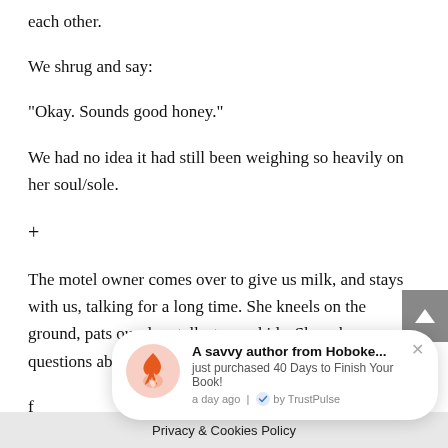each other.
We shrug and say:
“Okay. Sounds good honey.”
We had no idea it had still been weighing so heavily on her soul/sole.
+
The motel owner comes over to give us milk, and stays with us, talking for a long time. She kneels on the ground, pats our dog, talks to our kids. She asks us questions about our life and tel…
f…
My husband and … ry,
[Figure (screenshot): TrustPulse notification popup: 'A savvy author from Hoboke... just purchased 40 Days to Finish Your Book! a day ago | by TrustPulse' with flame icon in pink circle and close button]
Privacy & Cookies Policy